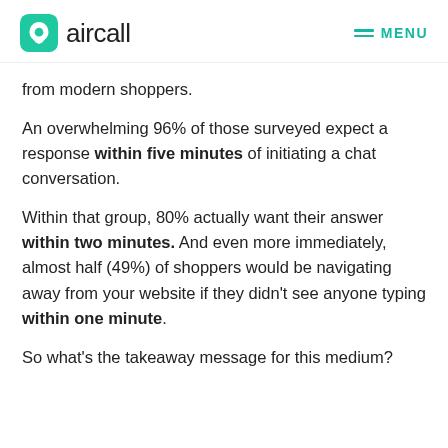aircall  MENU
from modern shoppers.
An overwhelming 96% of those surveyed expect a response within five minutes of initiating a chat conversation.
Within that group, 80% actually want their answer within two minutes. And even more immediately, almost half (49%) of shoppers would be navigating away from your website if they didn't see anyone typing within one minute.
So what's the takeaway message for this medium?